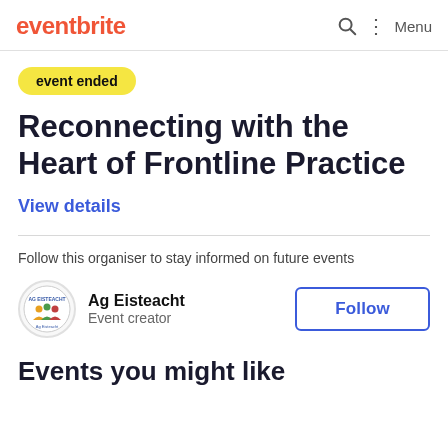eventbrite  Menu
event ended
Reconnecting with the Heart of Frontline Practice
View details
Follow this organiser to stay informed on future events
Ag Eisteacht
Event creator
Follow
Events you might like